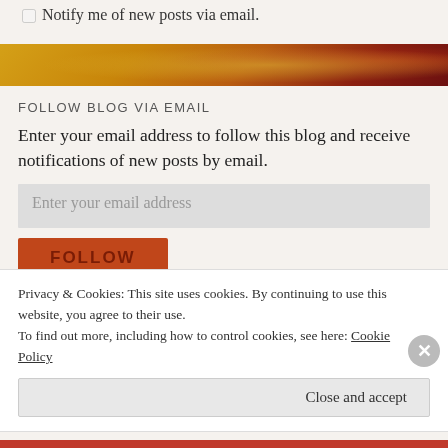Notify me of new posts via email.
[Figure (photo): Blurred food/bokeh background image with warm orange, yellow, and red tones]
FOLLOW BLOG VIA EMAIL
Enter your email address to follow this blog and receive notifications of new posts by email.
Enter your email address
FOLLOW
Privacy & Cookies: This site uses cookies. By continuing to use this website, you agree to their use.
To find out more, including how to control cookies, see here: Cookie Policy
Close and accept